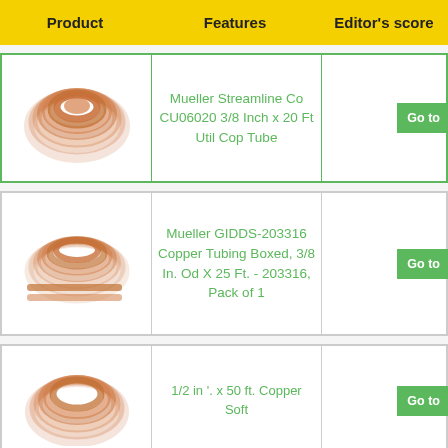| Product | Features | Editor's score | G |
| --- | --- | --- | --- |
| [copper coil image] | Mueller Streamline Co CU06020 3/8 Inch x 20 Ft Util Cop Tube |  | Go to |
| [copper coil image] | Mueller GIDDS-203316 Copper Tubing Boxed, 3/8 In. Od X 25 Ft. - 203316, Pack of 1 |  | Go to |
| [copper coil image] | 1/2 in '. x 50 ft. Copper Soft |  | Go to |